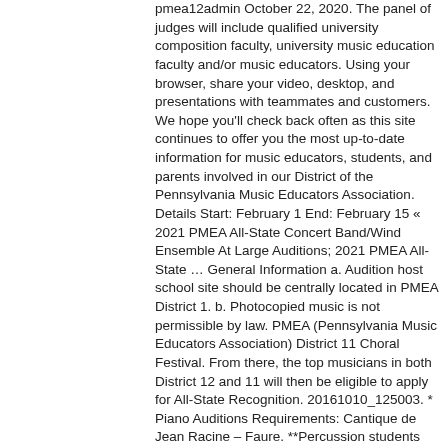pmea12admin October 22, 2020. The panel of judges will include qualified university composition faculty, university music education faculty and/or music educators. Using your browser, share your video, desktop, and presentations with teammates and customers. We hope you'll check back often as this site continues to offer you the most up-to-date information for music educators, students, and parents involved in our District of the Pennsylvania Music Educators Association. Details Start: February 1 End: February 15 « 2021 PMEA All-State Concert Band/Wind Ensemble At Large Auditions; 2021 PMEA All-State … General Information a. Audition host school site should be centrally located in PMEA District 1. b. Photocopied music is not permissible by law. PMEA (Pennsylvania Music Educators Association) District 11 Choral Festival. From there, the top musicians in both District 12 and 11 will then be eligible to apply for All-State Recognition. 20161010_125003. * Piano Auditions Requirements: Cantique de Jean Racine – Faure. **Percussion students will submit via the separate percussion specific audition form. Students from 10th through 12th grade who are currently enrolled in a choir class, or who sing in NorthVoice or Rhythm of the Rock may audition for a spot on the audition roster. Students not